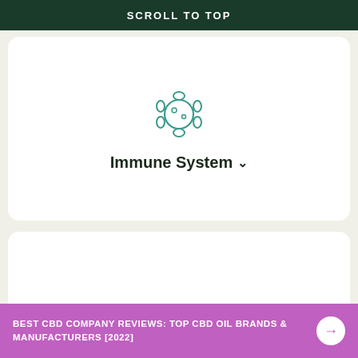SCROLL TO TOP
[Figure (illustration): Teal outline icon of an immune cell / virus with protrusions]
Immune System ▾
[Figure (illustration): Teal outline icon of a uterus representing reproductive health]
Reproductive Health ▾
[Figure (illustration): Teal outline icon of a thyroid gland representing hormones and endocrine]
Hormones & Endocrine ▾
BEST CBD COMPANY REVIEWS: TOP CBD OIL BRANDS & MANUFACTURERS [2022]